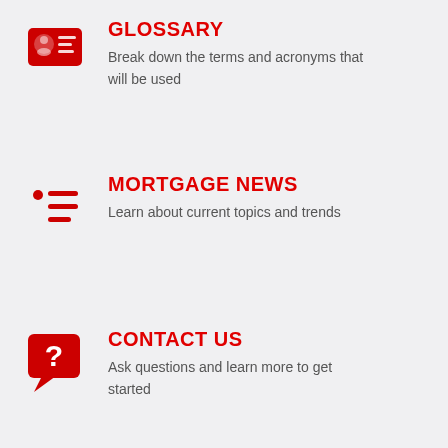[Figure (illustration): Red glossary/ID card icon with lines representing text fields]
GLOSSARY
Break down the terms and acronyms that will be used
[Figure (illustration): Red bullet list / mortgage news icon with a red dot and three red horizontal lines]
MORTGAGE NEWS
Learn about current topics and trends
[Figure (illustration): Red speech bubble with a white question mark inside]
CONTACT US
Ask questions and learn more to get started